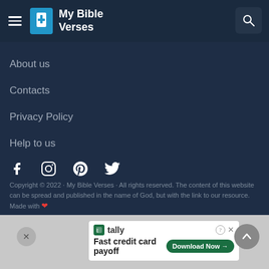My Bible Verses
About us
Contacts
Privacy Policy
Help to us
[Figure (other): Social media icons: Facebook, Instagram, Pinterest, Twitter]
Copyright © 2022 · My Bible Verses · All rights reserved. The content of this website can be spread and published in the name of God, but with the link to our resource. Made with ❤
[Figure (other): Advertisement banner: Tally — Fast credit card payoff, Download Now button]